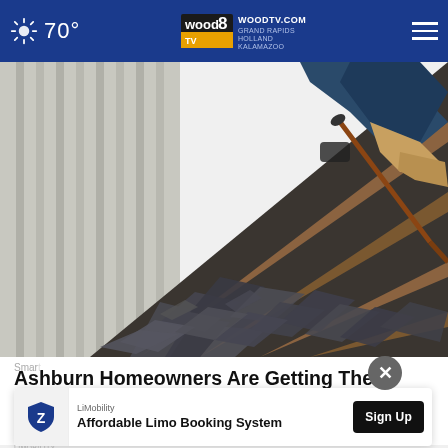70° | WOODTV.COM GRAND RAPIDS HOLLAND KALAMAZOO
[Figure (photo): Worker removing old slate shingles from a residential roof, kneeling on steep slope with pry bar, damaged shingles scattered across wooden decking]
Ashburn Homeowners Are Getting Their Roof Replaced With This Special Program
Smart
LiMobility
Affordable Limo Booking System
Sign Up